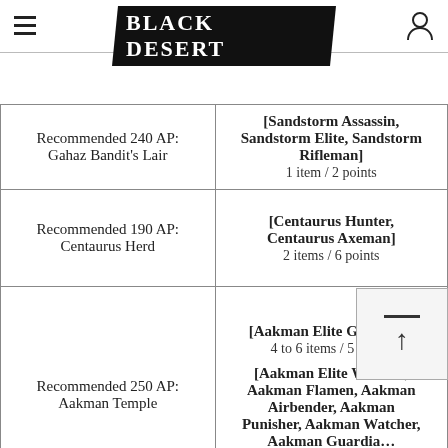BLACK DESERT
| Location | Drops |
| --- | --- |
| Recommended 240 AP: Gahaz Bandit's Lair | [Sandstorm Assassin, Sandstorm Elite, Sandstorm Rifleman]
1 item / 2 points |
| Recommended 190 AP: Centaurus Herd | [Centaurus Hunter, Centaurus Axeman]
2 items / 6 points |
| Recommended 250 AP: Aakman Temple | [Aakman Elite Guardian]
4 to 6 items / 5 points

[Aakman Elite Watcher, Aakman Flamen, Aakman Airbender, Aakman Punisher, Aakman Watcher, Aakman Guardian]
2 to 4 items / 5 points |
|  | [Kalqueesh, Tutuka, Tukar Burmol, Tukar Domol] |